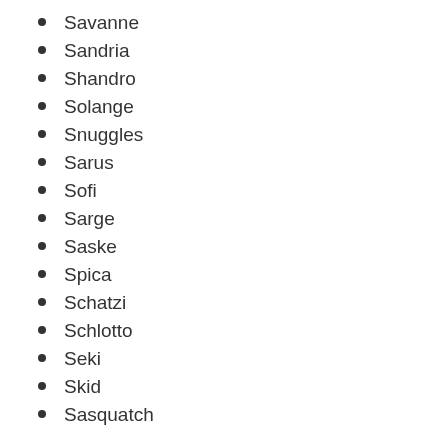Savanne
Sandria
Shandro
Solange
Snuggles
Sarus
Sofi
Sarge
Saske
Spica
Schatzi
Schlotto
Seki
Skid
Sasquatch